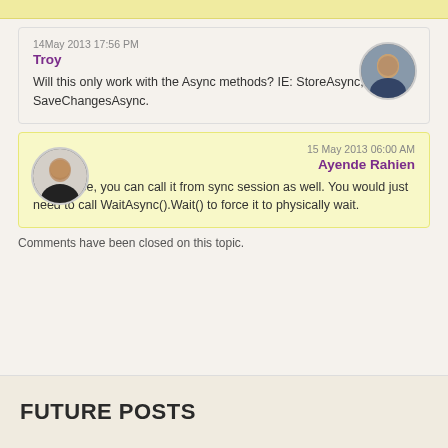14 May 2013 17:56 PM
Troy
Will this only work with the Async methods? IE: StoreAsync, SaveChangesAsync.
15 May 2013 06:00 AM
Ayende Rahien
Troy, Nope, you can call it from sync session as well. You would just need to call WaitAsync().Wait() to force it to physically wait.
Comments have been closed on this topic.
FUTURE POSTS